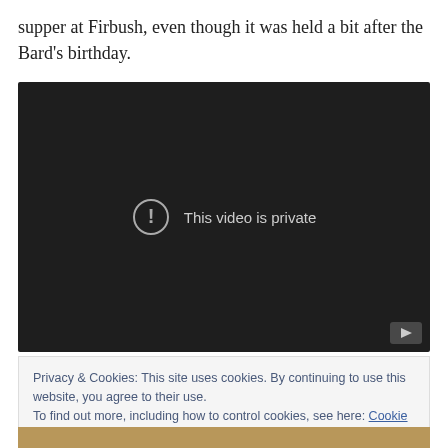supper at Firbush, even though it was held a bit after the Bard's birthday.
[Figure (screenshot): Embedded video player showing 'This video is private' message with exclamation icon on dark background, and a play button in the bottom right corner.]
Privacy & Cookies: This site uses cookies. By continuing to use this website, you agree to their use.
To find out more, including how to control cookies, see here: Cookie Policy
Close and accept